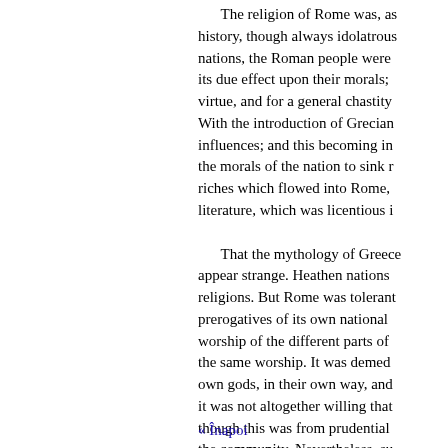The religion of Rome was, as history, though always idolatrous nations, the Roman people were its due effect upon their morals; virtue, and for a general chastity With the introduction of Grecian influences; and this becoming in the morals of the nation to sink r riches which flowed into Rome, literature, which was licentious i
That the mythology of Greece appear strange. Heathen nations religions. But Rome was tolerant prerogatives of its own national worship of the different parts of the same worship. It was deeme own gods, in their own way, and it was not altogether willing that though this was from prudential the community. Nevertheless, su and the intercourse of Rome with
« Înapoi